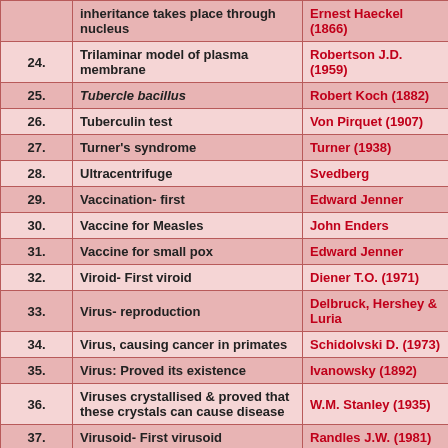| No. | Discovery/Concept | Scientist (Year) |
| --- | --- | --- |
|  | inheritance takes place through nucleus | Ernest Haeckel (1866) |
| 24. | Trilaminar model of plasma membrane | Robertson J.D. (1959) |
| 25. | Tubercle bacillus | Robert Koch (1882) |
| 26. | Tuberculin test | Von Pirquet (1907) |
| 27. | Turner's syndrome | Turner (1938) |
| 28. | Ultracentrifuge | Svedberg |
| 29. | Vaccination- first | Edward Jenner |
| 30. | Vaccine for Measles | John Enders |
| 31. | Vaccine for small pox | Edward Jenner |
| 32. | Viroid- First viroid | Diener T.O. (1971) |
| 33. | Virus- reproduction | Delbruck, Hershey & Luria |
| 34. | Virus, causing cancer in primates | Schidolvski D. (1973) |
| 35. | Virus: Proved its existence | Ivanowsky (1892) |
| 36. | Viruses crystallised & proved that these crystals can cause disease | W.M. Stanley (1935) |
| 37. | Virusoid- First virusoid | Randles J.W. (1981) |
| 38. | Vitamin | Funk (1911) |